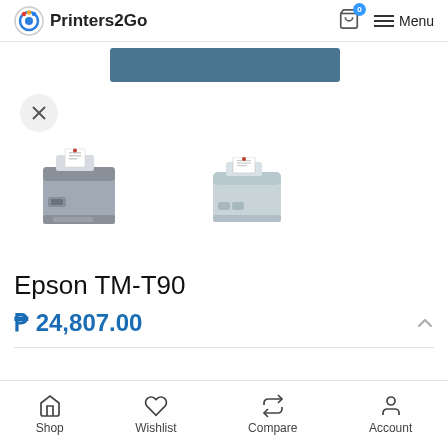Printers2Go
[Figure (photo): Blue banner and two product thumbnail images of Epson TM-T90 thermal receipt printer. Left thumbnail shows dark grey printer from front-side angle; right thumbnail shows light grey/white compact printer from angled top view. A circle expand/close button with an X is visible on the left.]
Epson TM-T90
₱ 24,807.00
Shop  Wishlist  Compare  Account